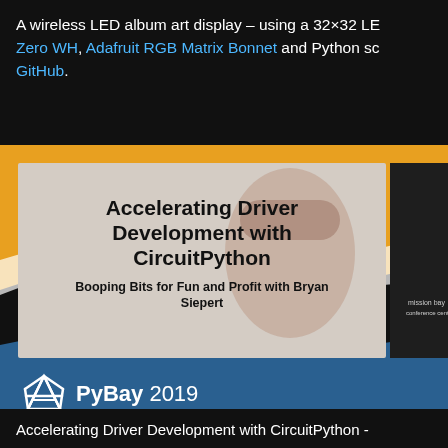A wireless LED album art display – using a 32×32 LED panel, Raspberry Pi Zero WH, Adafruit RGB Matrix Bonnet and Python source code available on GitHub.
[Figure (screenshot): A screenshot of a PyBay 2019 presentation slide titled 'Accelerating Driver Development with CircuitPython – Booping Bits for Fun and Profit with Bryan Siepert', shown embedded in a video player with a blue wave background and PyBay 2019 logo.]
Accelerating Driver Development with CircuitPython -